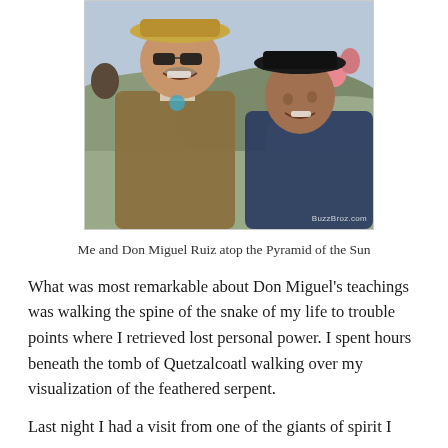[Figure (photo): Two men smiling together outdoors atop a pyramid, with a mountainous landscape visible in the background. One man wears sunglasses and a tan jacket with a decorative necklace; the other wears a black fedora hat. Watermark reads 'BuzzBroz.com'.]
Me and Don Miguel Ruiz atop the Pyramid of the Sun
What was most remarkable about Don Miguel's teachings was walking the spine of the snake of my life to trouble points where I retrieved lost personal power. I spent hours beneath the tomb of Quetzalcoatl walking over my visualization of the feathered serpent.
Last night I had a visit from one of the giants of spirit I